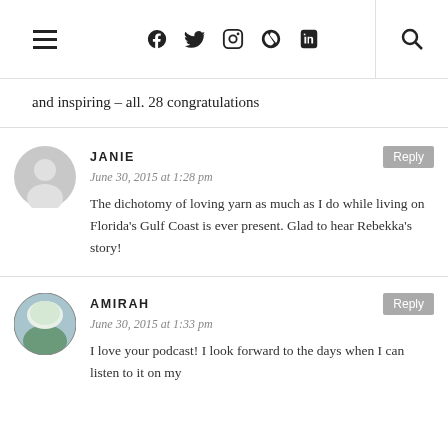Navigation header with hamburger menu, social icons (Facebook, Twitter, Instagram, Pinterest, RSS), and search icon
and inspiring – all. 28 congratulations
JANIE
June 30, 2015 at 1:28 pm
The dichotomy of loving yarn as much as I do while living on Florida's Gulf Coast is ever present. Glad to hear Rebekka's story!
AMIRAH
June 30, 2015 at 1:33 pm
I love your podcast! I look forward to the days when I can listen to it on my